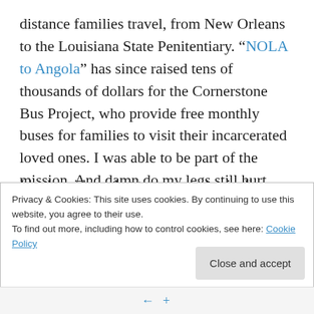distance families travel, from New Orleans to the Louisiana State Penitentiary. “NOLA to Angola” has since raised tens of thousands of dollars for the Cornerstone Bus Project, who provide free monthly buses for families to visit their incarcerated loved ones. I was able to be part of the mission. And damn do my legs still hurt.
I had no idea what to expect physically, emotionally, or spiritually; so like most everything, I entered with a Buddhist “Don’t know” mind of adventure. I barely knew a few of the forty riders and support people, but was inspired
Privacy & Cookies: This site uses cookies. By continuing to use this website, you agree to their use.
To find out more, including how to control cookies, see here: Cookie Policy